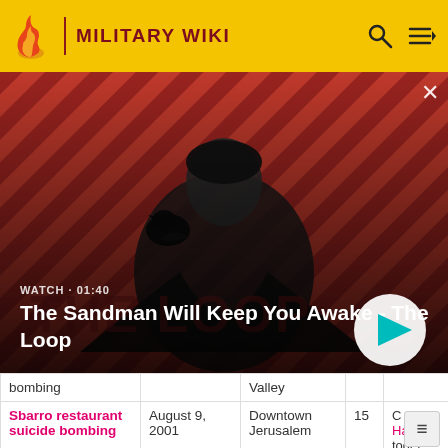MILITARY WIKI
[Figure (screenshot): Video banner showing a dark-clothed man with a raven on his shoulder against a red diagonal striped background. Overlaid text reads WATCH · 01:40 and title The Sandman Will Keep You Awake - The Loop, with a play button.]
| Attack | Date | Location | Deaths | Perpetrator |
| --- | --- | --- | --- | --- |
| bombing |  | Valley |  |  |
| Sbarro restaurant suicide bombing | August 9, 2001 | Downtown Jerusalem | 15 | C... Ha... toget... Pales... Islam... |